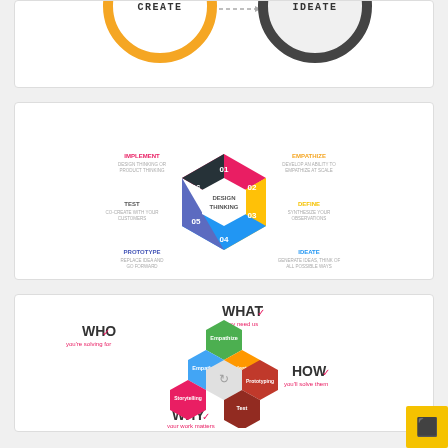[Figure (infographic): Two circular rings — orange ring labeled CREATE on the left, dark gray ring labeled IDEATE on the right, with a dashed arrow between them. Partial view (top cropped).]
[Figure (infographic): Design Thinking hexagonal cycle diagram with 6 colored segments numbered 01-06: Empathize (orange, 02), Define (yellow, 03), Empathize/Ideate (blue, 04), Prototype (purple-blue, 05), Test (black, 06), Implement (dark, 01). Center reads 'DESIGN THINKING'. Labels with icons surround the hexagon: IMPLEMENT, EMPATHIZE, DEFINE, IDEATE, PROTOTYPE, TEST.]
[Figure (infographic): Honeycomb/hexagon cluster diagram showing WHO (you're solving for), WHAT (they need us), HOW (you'll solve them), WHY (your work matters). Hexagons labeled: Empathize (green), Ideate (orange), Empathize/Define (blue), Prototyping (dark red/brown), Test (dark red), Storytelling (pink/magenta), with a white center hex with arrow. Check marks on WHO, WHAT, HOW, WHY labels.]